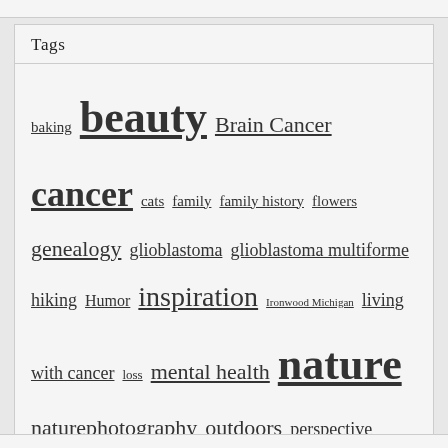Tags
baking beauty Brain Cancer cancer cats family family history flowers genealogy glioblastoma glioblastoma multiforme hiking Humor inspiration Ironwood Michigan living with cancer loss mental health nature naturephotography outdoors perspective Photography poetry quilting quotes retirement spring unedited wisdom
The Rescued